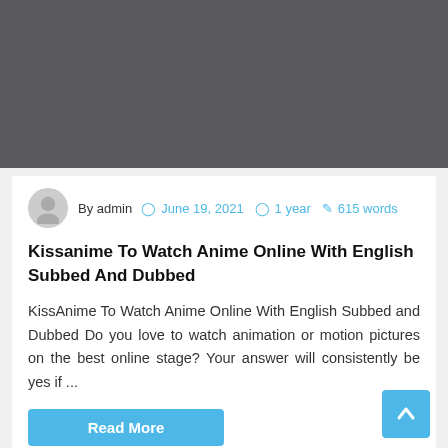[Figure (photo): Dark gray placeholder image area at the top of the page]
By admin  June 19, 2021  1 year  615 words
Kissanime To Watch Anime Online With English Subbed And Dubbed
KissAnime To Watch Anime Online With English Subbed and Dubbed Do you love to watch animation or motion pictures on the best online stage? Your answer will consistently be yes if ...
Read More